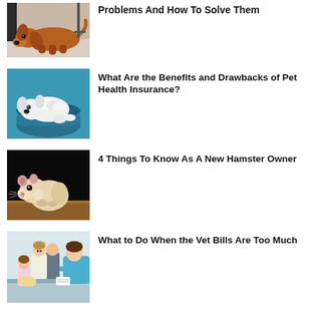[Figure (photo): A brown dog lying on a floor looking sad]
Problems And How To Solve Them
[Figure (photo): A white fluffy dog lying in a blue pet bed on a blue background]
What Are the Benefits and Drawbacks of Pet Health Insurance?
[Figure (photo): A hamster standing on a wooden surface against a black background]
4 Things To Know As A New Hamster Owner
[Figure (photo): A family with a dog at a veterinary reception desk with a vet in blue scrubs]
What to Do When the Vet Bills Are Too Much